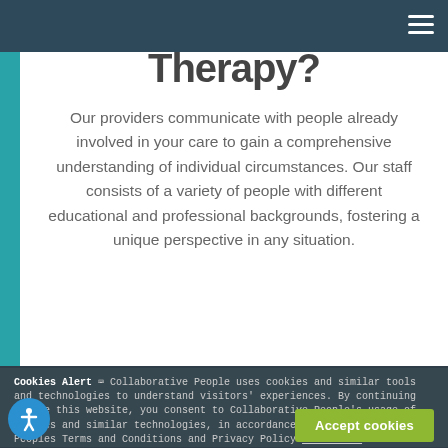therapy?
Our providers communicate with people already involved in your care to gain a comprehensive understanding of individual circumstances. Our staff consists of a variety of people with different educational and professional backgrounds, fostering a unique perspective in any situation.
Cookies Alert Ⓒ Collaborative People uses cookies and similar tools and technologies to understand visitors' experiences. By continuing to use this website, you consent to Collaborative People's usage of cookies and similar technologies, in accordance with Collaborative Peoples Terms and Conditions and Privacy Policy Learn more
Accept cookies